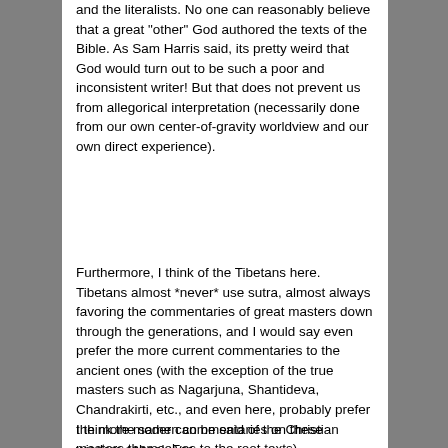and the literalists. No one can reasonably believe that a great "other" God authored the texts of the Bible. As Sam Harris said, its pretty weird that God would turn out to be such a poor and inconsistent writer! But that does not prevent us from allegorical interpretation (necessarily done from our own center-of-gravity worldview and our own direct experience).
Furthermore, I think of the Tibetans here. Tibetans almost *never* use sutra, almost always favoring the commentaries of great masters down through the generations, and I would say even prefer the more current commentaries to the ancient ones (with the exception of the true masters such as Nagarjuna, Shantideva, Chandrakirti, etc., and even here, probably prefer the more modern commentaries on these masters themselves to the root texts).
I think the same can be said of the Christian wisdom school. For